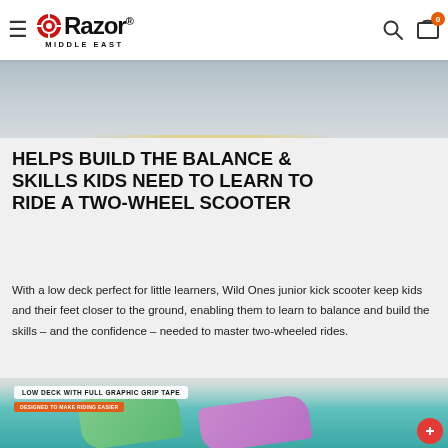Razor Middle East — navigation header with logo, search, and cart
[Figure (photo): Partial photo of a scooter on pavement, top portion visible]
HELPS BUILD THE BALANCE & SKILLS KIDS NEED TO LEARN TO RIDE A TWO-WHEEL SCOOTER
With a low deck perfect for little learners, Wild Ones junior kick scooter keep kids and their feet closer to the ground, enabling them to learn to balance and build the skills – and the confidence – needed to master two-wheeled rides.
[Figure (photo): Photo of colorful Wild Ones scooters on pavement with label overlay 'LOW DECK WITH FULL GRAPHIC GRIP TAPE' and subtitle 'DESIGNED TO MAKE RIDING EASIER']